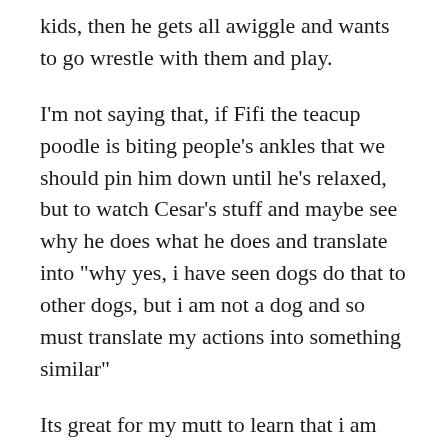kids, then he gets all awiggle and wants to go wrestle with them and play.
I'm not saying that, if Fifi the teacup poodle is biting people's ankles that we should pin him down until he's relaxed, but to watch Cesar's stuff and maybe see why he does what he does and translate into "why yes, i have seen dogs do that to other dogs, but i am not a dog and so must translate my actions into something similar"
Its great for my mutt to learn that i am dominant above my abusive father and "Scared of large dog" mother because there is something wrong with those two people that